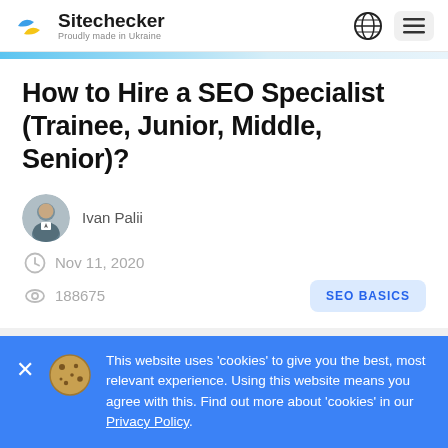Sitechecker – Proudly made in Ukraine
How to Hire a SEO Specialist (Trainee, Junior, Middle, Senior)?
Ivan Palii
Nov 11, 2020
188675
SEO BASICS
This website uses 'cookies' to give you the best, most relevant experience. Using this website means you agree with this. Find out more about 'cookies' in our Privacy Policy.